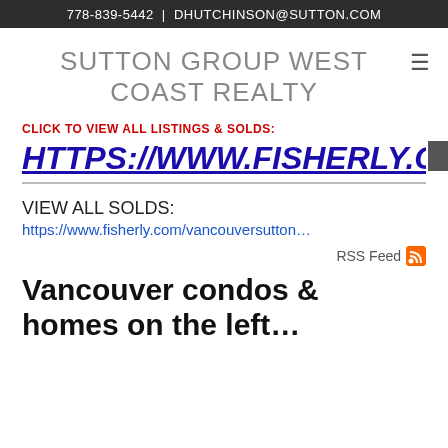778-839-5442 | DHUTCHINSON@SUTTON.COM
SUTTON GROUP WEST COAST REALTY
CLICK TO VIEW ALL LISTINGS & SOLDS:
HTTPS://WWW.FISHERLY.COM/...
VIEW ALL SOLDS:
https://www.fisherly.com/vancouversutton...
RSS Feed
Vancouver condos & homes on the market